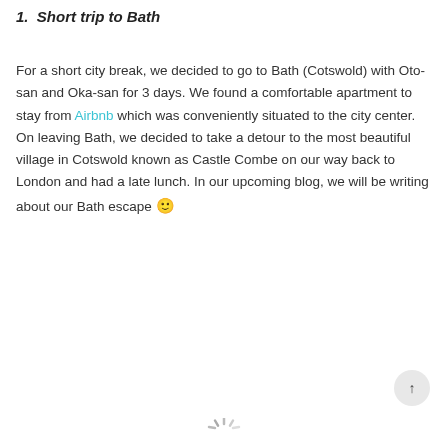1.  Short trip to Bath
For a short city break, we decided to go to Bath (Cotswold) with Oto-san and Oka-san for 3 days. We found a comfortable apartment to stay from Airbnb which was conveniently situated to the city center. On leaving Bath, we decided to take a detour to the most beautiful village in Cotswold known as Castle Combe on our way back to London and had a late lunch. In our upcoming blog, we will be writing about our Bath escape 🙂